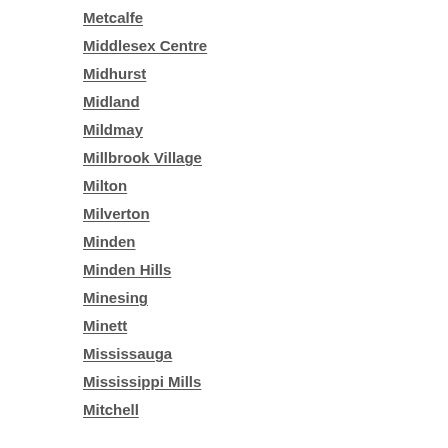Merrickville
Metcalfe
Middlesex Centre
Midhurst
Midland
Mildmay
Millbrook Village
Milton
Milverton
Minden
Minden Hills
Minesing
Minett
Mississauga
Mississippi Mills
Mitchell